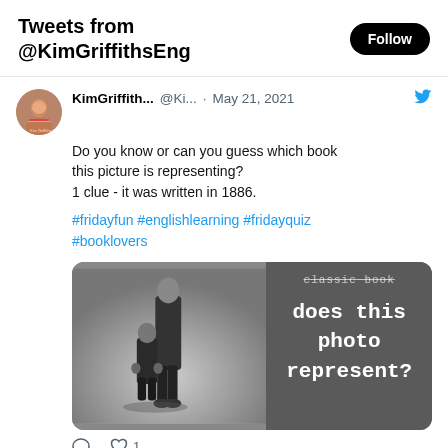Tweets from @KimGriffithsEng
KimGriffith... @Ki... · May 21, 2021
Do you know or can you guess which book this picture is representing?
1 clue - it was written in 1886.

#fridayfun #englishlearning #fridayquiz #booklovers
[Figure (screenshot): A black and white photo showing a tall person and a small child or dwarf figure in Victorian dress, alongside grey panel with white monospace text reading 'classic book does this photo represent?']
1 (heart reaction)